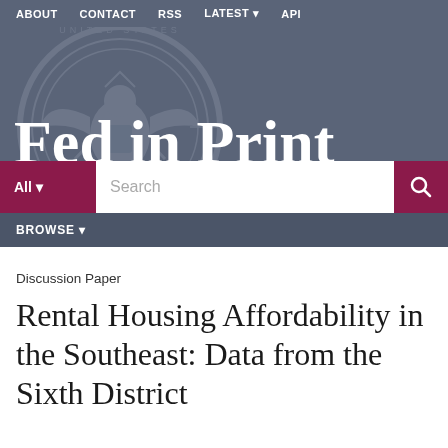ABOUT   CONTACT   RSS   LATEST   API
Fed in Print
All  Search
BROWSE
Discussion Paper
Rental Housing Affordability in the Southeast: Data from the Sixth District